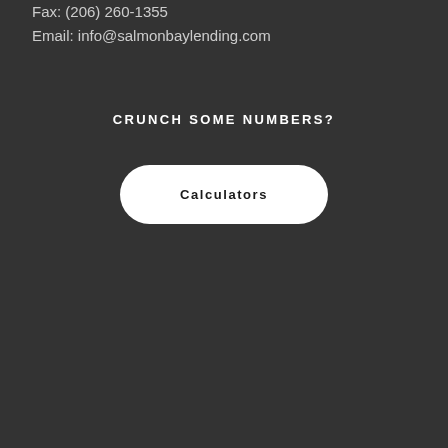Fax: (206) 260-1355
Email: info@salmonbaylending.com
CRUNCH SOME NUMBERS?
Calculators